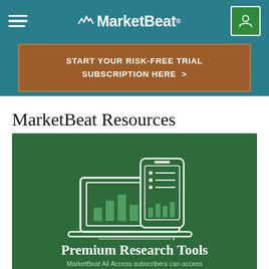MarketBeat
START YOUR RISK-FREE TRIAL SUBSCRIPTION HERE >
MarketBeat Resources
[Figure (illustration): Icon of a laptop and smartphone displaying charts and list data, on a dark green background]
Premium Research Tools
MarketBeat All Access subscribers can access...